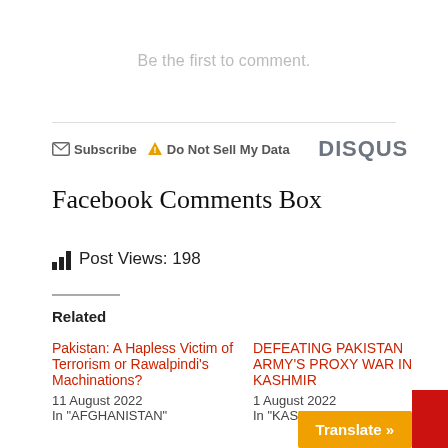Be the first to comment.
[Figure (screenshot): Disqus comment widget footer with Subscribe and Do Not Sell My Data links, and DISQUS logo]
Facebook Comments Box
Post Views: 198
Related
Pakistan: A Hapless Victim of Terrorism or Rawalpindi's Machinations?
11 August 2022
In "AFGHANISTAN"
DEFEATING PAKISTAN ARMY'S PROXY WAR IN KASHMIR
1 August 2022
In "KASHMIR"
Translate »